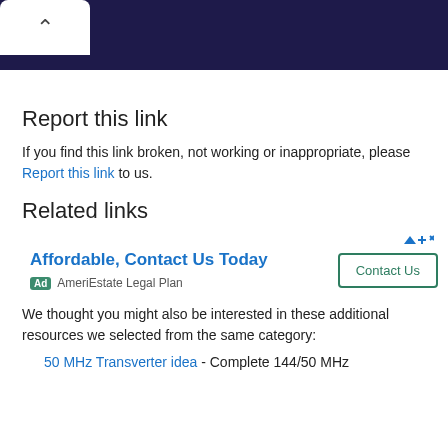Report this link
If you find this link broken, not working or inappropriate, please Report this link to us.
Related links
[Figure (screenshot): Advertisement banner: Affordable, Contact Us Today - AmeriEstate Legal Plan with Contact Us button]
We thought you might also be interested in these additional resources we selected from the same category:
50 MHz Transverter idea - Complete 144/50 MHz